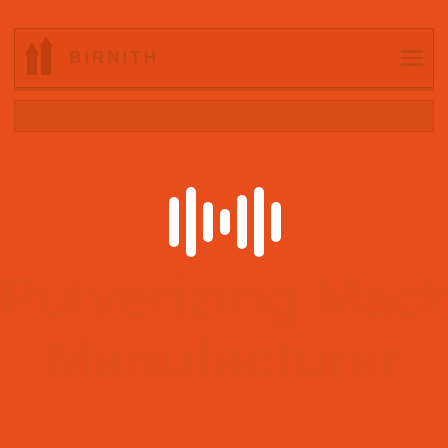[Figure (logo): BIRNITH company logo with building/pillar icon and navigation bar UI screenshot on orange background, with a white audio/sound wave icon in the center and large semi-transparent text reading 'Pulverizing Machine Manufacturer']
Pulverizing Machine Manufacturer